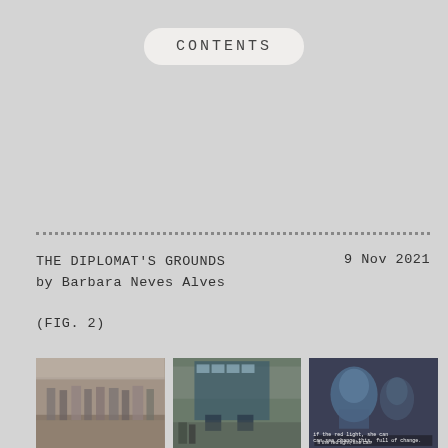CONTENTS
THE DIPLOMAT'S GROUNDS     9 Nov 2021
by Barbara Neves Alves
(FIG. 2)
[Figure (photo): Three film stills or video screenshots shown side by side: left image shows a crowd of people on a city street, middle image shows a street scene with a bus and pedestrians, right image shows a close-up of a person with others in background with subtitle text visible.]